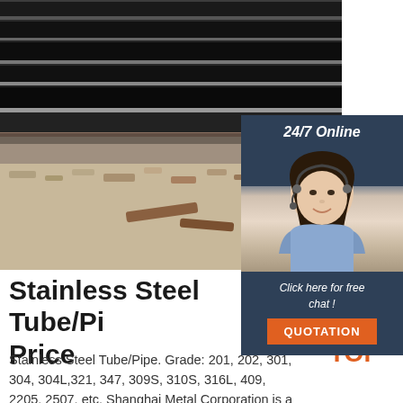[Figure (photo): Stainless steel plates/sheets stacked, showing industrial metal surfaces with rust marks]
[Figure (infographic): 24/7 Online chat widget with female customer service representative wearing headset, dark blue background with 'Click here for free chat!' text and orange QUOTATION button]
Stainless Steel Tube/Pi… Price
Stainless Steel Tube/Pipe. Grade: 201, 202, 301, 304, 304L,321, 347, 309S, 310S, 316L, 409, 2205, 2507, etc. Shanghai Metal Corporation is a professional manufacturer and supplier of
[Figure (logo): TOP badge logo in orange with decorative dots]